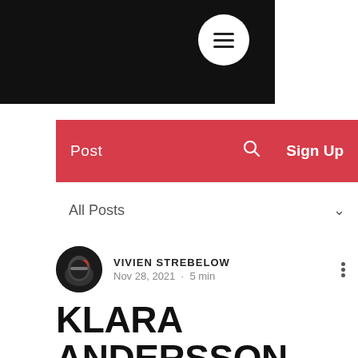Post · Search · Sign Up
All Posts
VIVIEN STREBELOW · Nov 28, 2021 · 5 min
KLARA ANDERSSON CONTINUES IMPRESSIVE PROGRESS IN RX2E AT